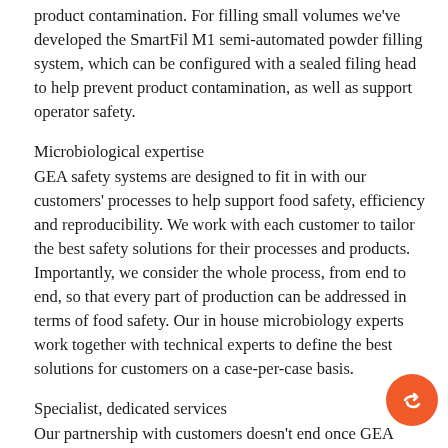product contamination. For filling small volumes we've developed the SmartFil M1 semi-automated powder filling system, which can be configured with a sealed filing head to help prevent product contamination, as well as support operator safety.
Microbiological expertise
GEA safety systems are designed to fit in with our customers' processes to help support food safety, efficiency and reproducibility. We work with each customer to tailor the best safety solutions for their processes and products. Importantly, we consider the whole process, from end to end, so that every part of production can be addressed in terms of food safety. Our in house microbiology experts work together with technical experts to define the best solutions for customers on a case-per-case basis.
Specialist, dedicated services
Our partnership with customers doesn't end once GEA systems have been installed. We have developed GEA SAFEXPERT®...